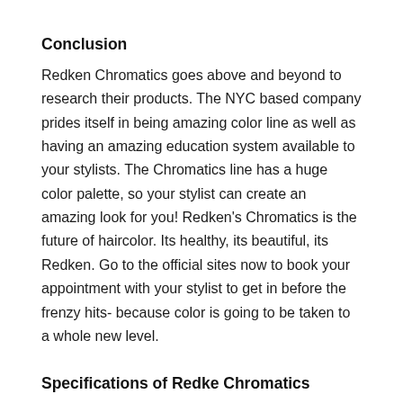Conclusion
Redken Chromatics goes above and beyond to research their products. The NYC based company prides itself in being amazing color line as well as having an amazing education system available to your stylists. The Chromatics line has a huge color palette, so your stylist can create an amazing look for you! Redken’s Chromatics is the future of haircolor. Its healthy, its beautiful, its Redken. Go to the official sites now to book your appointment with your stylist to get in before the frenzy hits- because color is going to be taken to a whole new level.
Specifications of Redke Chromatics